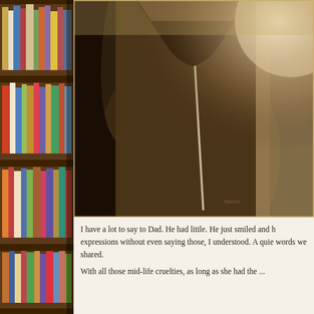[Figure (photo): Sepia-toned close-up photograph of a man wearing a dark zip-up jacket/sweater, with another person partially visible on the right edge. The photo is cropped tightly showing mainly the torso and lower face area.]
[Figure (photo): Left side decorative column showing a wooden bookshelf filled with colorful books of various sizes and colors.]
I have a lot to say to Dad. He had little. He just smiled and h expressions without even saying those, I understood. A quie words we shared.
With all those mid-life cruelties, as long as she had the ...